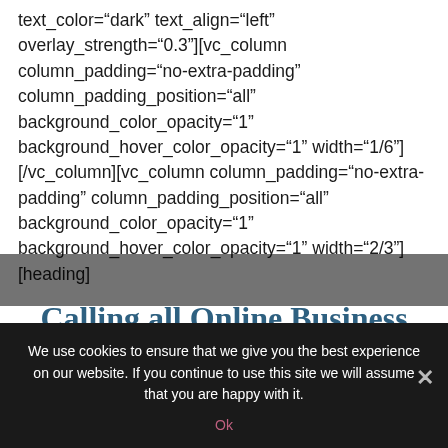text_color="dark" text_align="left" overlay_strength="0.3"][vc_column column_padding="no-extra-padding" column_padding_position="all" background_color_opacity="1" background_hover_color_opacity="1" width="1/6"][/vc_column][vc_column column_padding="no-extra-padding" column_padding_position="all" background_color_opacity="1" background_hover_color_opacity="1" width="2/3"][heading]
Calling all Online Business Managers Who Want to Master the Client Relationship and Tool
We use cookies to ensure that we give you the best experience on our website. If you continue to use this site we will assume that you are happy with it.
Ok